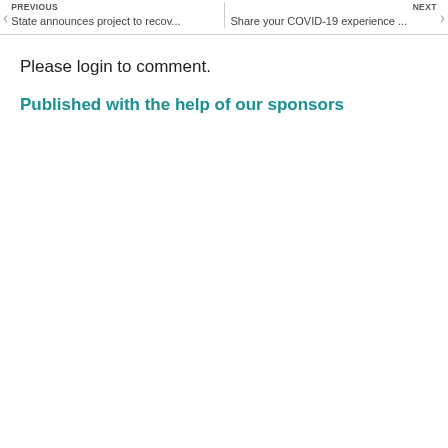PREVIOUS State announces project to recov... | NEXT Share your COVID-19 experience ...
Please login to comment.
Published with the help of our sponsors